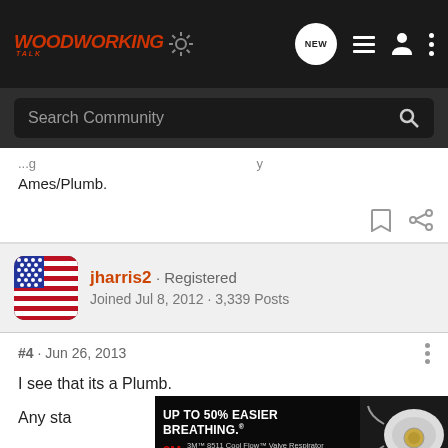WoodworkingTalk - NEW - search, list, profile, menu
Search Community
Ames/Plumb.
jharris2 · Registered
Joined Jul 8, 2012 · 3,339 Posts
#4 · Jun 26, 2013
I see that its a Plumb.
Any sta
[Figure (screenshot): 3M advertisement banner: UP TO 50% EASIER BREATHING. 3M 8511 Cool Flow Valve Respirator. *Compared to non-valved 3M 8200 Testing. Image of N95 respirator mask on right.]